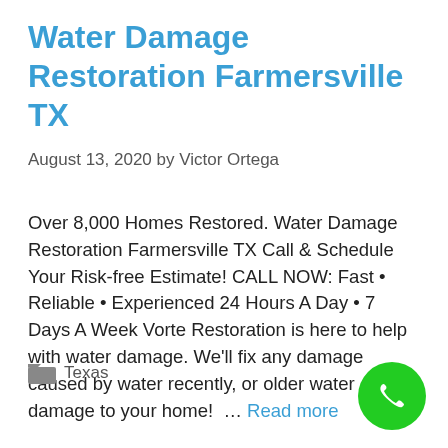Water Damage Restoration Farmersville TX
August 13, 2020 by Victor Ortega
Over 8,000 Homes Restored. Water Damage Restoration Farmersville TX Call & Schedule Your Risk-free Estimate! CALL NOW: Fast • Reliable • Experienced 24 Hours A Day • 7 Days A Week Vorte Restoration is here to help with water damage. We'll fix any damage caused by water recently, or older water damage to your home! … Read more
Texas